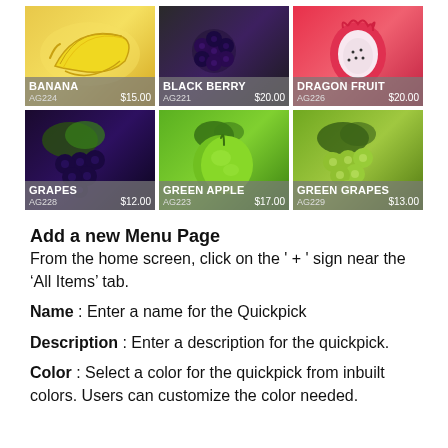[Figure (screenshot): A 2x3 grid of fruit product cards. Row 1: Banana (AG224, $15.00), Black Berry (AG221, $20.00), Dragon Fruit (AG226, $20.00). Row 2: Grapes (AG228, $12.00), Green Apple (AG223, $17.00), Green Grapes (AG229, $13.00). Each card shows a fruit image with a semi-transparent label bar at the bottom showing the fruit name, code, and price.]
Add a new Menu Page
From the home screen, click on the ' + ' sign near the ‘All Items’ tab.
Name : Enter a name for the Quickpick
Description : Enter a description for the quickpick.
Color : Select a color for the quickpick from inbuilt colors. Users can customize the color needed.